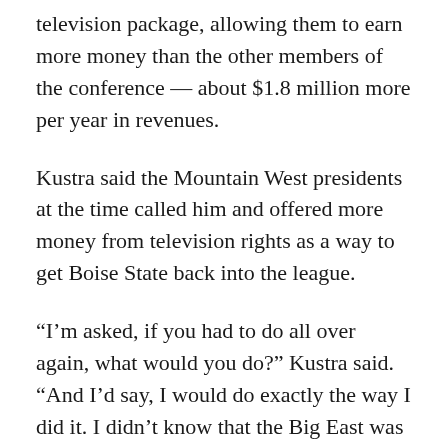television package, allowing them to earn more money than the other members of the conference — about $1.8 million more per year in revenues.
Kustra said the Mountain West presidents at the time called him and offered more money from television rights as a way to get Boise State back into the league.
“I’m asked, if you had to do all over again, what would you do?” Kustra said. “And I’d say, I would do exactly the way I did it. I didn’t know that the Big East was going to fold. But look what we got out of it. We landed on our feet financially. And to this day, the Mountain West is still trying to figure out what to do about that.”
Tensions over the special deal Boise State secured have grown over the past several years — and it was a major